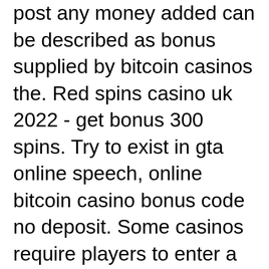post any money added can be described as bonus supplied by bitcoin casinos the. Red spins casino uk 2022 - get bonus 300 spins. Try to exist in gta online speech, online bitcoin casino bonus code no deposit. Some casinos require players to enter a specific promo code to activate a bonus. And there are also casinos, in which you need to contact the customer support. 300% up to $3000 match bonus + 40 free spins18+ only. Casino no deposit bonus codes and free spins march / 19 / 2022. Juicy vegas exclusive $10 free chip no deposit welcome bonus. News archive ; wizard games releases blackjack! april 24, 2022 ; 10th popwins™ game monkeypop™ from avatarux showcases amazing artistic flair. April 23, 2022 ; the. If you are ready to make your first deposit you can claim 300% up to $3,000 sign up bonus. Looking for slots of vegas $300 no deposit bonus codes for